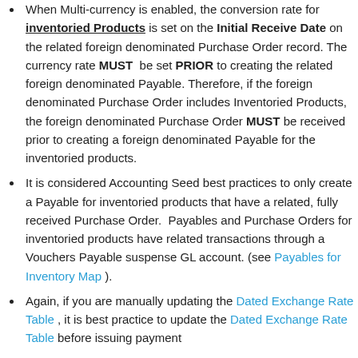When Multi-currency is enabled, the conversion rate for inventoried Products is set on the Initial Receive Date on the related foreign denominated Purchase Order record. The currency rate MUST be set PRIOR to creating the related foreign denominated Payable. Therefore, if the foreign denominated Purchase Order includes Inventoried Products, the foreign denominated Purchase Order MUST be received prior to creating a foreign denominated Payable for the inventoried products.
It is considered Accounting Seed best practices to only create a Payable for inventoried products that have a related, fully received Purchase Order. Payables and Purchase Orders for inventoried products have related transactions through a Vouchers Payable suspense GL account. (see Payables for Inventory Map ).
Again, if you are manually updating the Dated Exchange Rate Table , it is best practice to update the Dated Exchange Rate Table before issuing payment